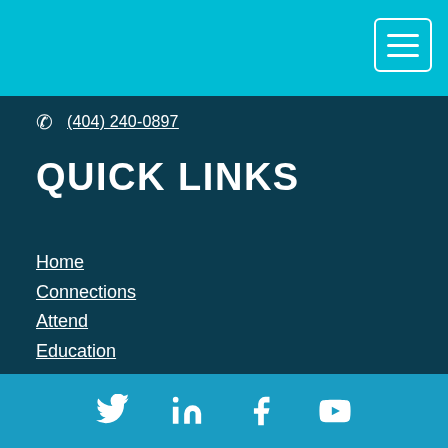Navigation header bar with hamburger menu
(404) 240-0897
QUICK LINKS
Home
Connections
Attend
Education
Join
[Figure (infographic): Social media icons row: Twitter, LinkedIn, Facebook, YouTube on a cyan background]